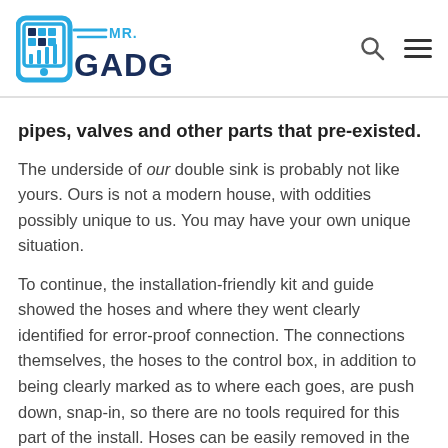[Figure (logo): Mr. Gadget logo with stylized blue smartphone/tablet icon and dark blue bold GADGET text with blue MR. text]
pipes, valves and other parts that pre-existed.
The underside of our double sink is probably not like yours. Ours is not a modern house, with oddities possibly unique to us. You may have your own unique situation.
To continue, the installation-friendly kit and guide showed the hoses and where they went clearly identified for error-proof connection. The connections themselves, the hoses to the control box, in addition to being clearly marked as to where each goes, are push down, snap-in, so there are no tools required for this part of the install. Hoses can be easily removed in the unlikely event this may be needed in the future.